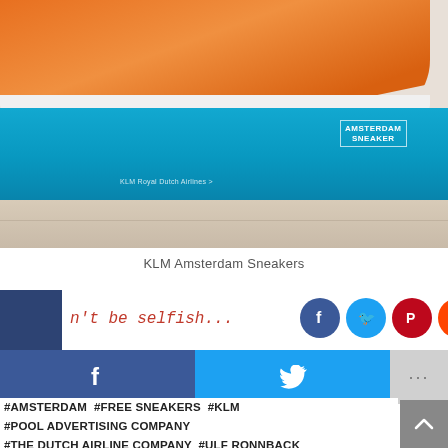[Figure (photo): Photo of an orange KLM Amsterdam Sneaker on top of a blue KLM-branded shoe box, on a wooden floor surface]
KLM Amsterdam Sneakers
[Figure (infographic): Social media sharing bar with Facebook sidebar tab, 'Don't be selfish...' text in red italic, and social sharing icons for Facebook, Twitter, Pinterest, Reddit, Digg, StumbleUpon. Below: large Facebook and Twitter share buttons and a more (...) button. Facebook label on vertical sidebar.]
#AMSTERDAM  #FREE SNEAKERS  #KLM #POOL ADVERTISING COMPANY #THE DUTCH AIRLINE COMPANY  #ULF RONNBACK